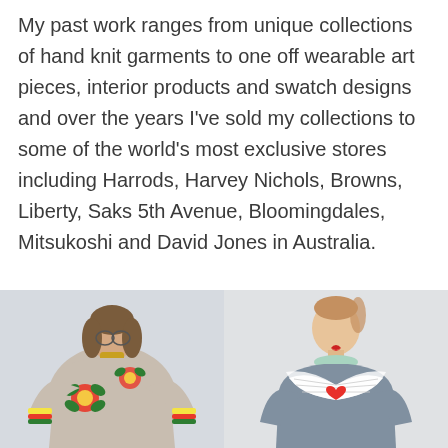My past work ranges from unique collections of hand knit garments to one off wearable art pieces, interior products and swatch designs and over the years I've sold my collections to some of the world's most exclusive stores including Harrods, Harvey Nichols, Browns, Liberty, Saks 5th Avenue, Bloomingdales, Mitsukoshi and David Jones in Australia.
[Figure (photo): Woman wearing a beige/tan oversized hand-knit sweater with large floral (red and green) pattern, with colorful striped cuffs, standing against a light background]
[Figure (photo): Young woman with red lips wearing a grey knit sweater featuring a large white swan/angel wings with heart motif on the chest, looking downward against a light grey background]